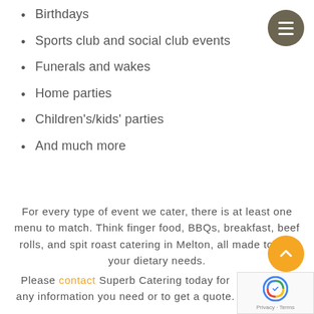Birthdays
Sports club and social club events
Funerals and wakes
Home parties
Children's/kids' parties
And much more
For every type of event we cater, there is at least one menu to match. Think finger food, BBQs, breakfast, beef rolls, and spit roast catering in Melton, all made to suit your dietary needs.
Please contact Superb Catering today for any information you need or to get a quote.